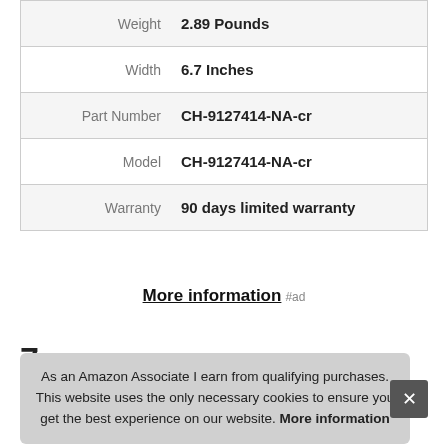| Attribute | Value |
| --- | --- |
| Weight | 2.89 Pounds |
| Width | 6.7 Inches |
| Part Number | CH-9127414-NA-cr |
| Model | CH-9127414-NA-cr |
| Warranty | 90 days limited warranty |
More information #ad
7.
#ad
As an Amazon Associate I earn from qualifying purchases. This website uses the only necessary cookies to ensure you get the best experience on our website. More information